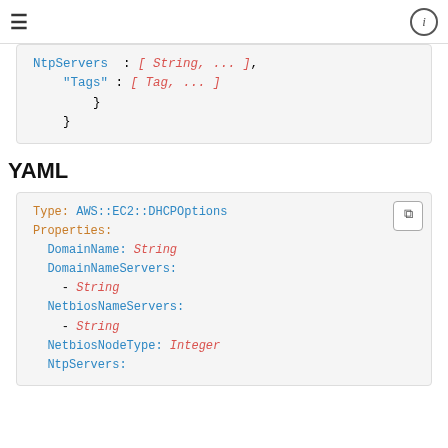≡   ⓘ
NtpServers : [ String, ... ],
"Tags" : [ Tag, ... ]
    }
}
YAML
Type: AWS::EC2::DHCPOptions
Properties:
  DomainName: String
  DomainNameServers:
    - String
  NetbiosNameServers:
    - String
  NetbiosNodeType: Integer
  NtpServers: